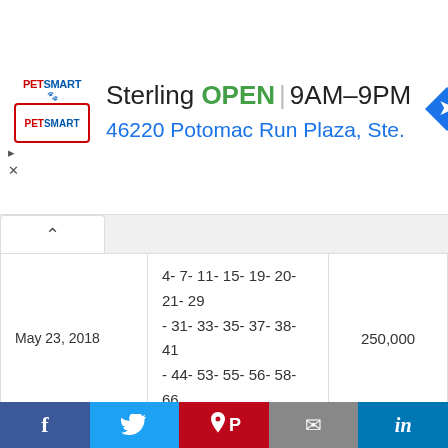[Figure (screenshot): PetSmart ad banner showing Sterling store OPEN 9AM-9PM at 46220 Potomac Run Plaza, Ste. with navigation icon]
| Date | Numbers | Prize |
| --- | --- | --- |
| May 23, 2018 | 4- 7- 11- 15- 19- 20- 21- 29 - 31- 33- 35- 37- 38- 41 - 44- 53- 55- 56- 58- 66 | 250,000 |
| May 22, 2018 | 7- 8- 10- 11- 16- 19- 20- 31 - 36- 41- 43- 44- 46- 48 - 49- 55- 58- 60- 63- 68 | 250,000 |
| May 21, 2018 | 2- 8- 15- 16- 19- 21- 24- 31 - 32- 35- 36- 40- 45- 46 - 50- 52- 56- 57- 59- 62 | 250,000 |
f  Twitter  Pinterest  Email  in